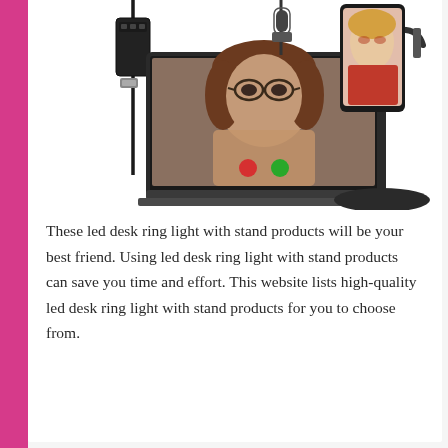[Figure (photo): Product photo showing LED desk ring light with stand setup: a USB LED ring light with cable on the left next to a laptop displaying a video call with a woman wearing glasses, and on the right a phone holder stand with a phone showing a woman in red. Multiple product accessories visible.]
These led desk ring light with stand products will be your best friend. Using led desk ring light with stand products can save you time and effort. This website lists high-quality led desk ring light with stand products for you to choose from.